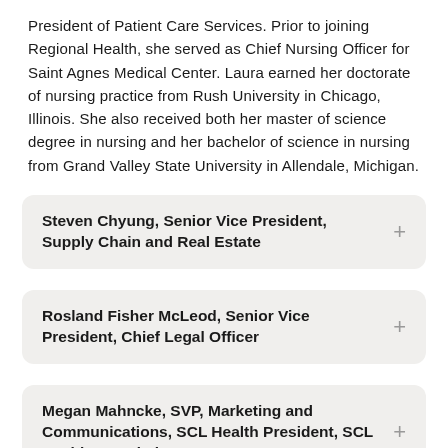President of Patient Care Services. Prior to joining Regional Health, she served as Chief Nursing Officer for Saint Agnes Medical Center. Laura earned her doctorate of nursing practice from Rush University in Chicago, Illinois. She also received both her master of science degree in nursing and her bachelor of science in nursing from Grand Valley State University in Allendale, Michigan.
Steven Chyung, Senior Vice President, Supply Chain and Real Estate
Rosland Fisher McLeod, Senior Vice President, Chief Legal Officer
Megan Mahncke, SVP, Marketing and Communications, SCL Health President, SCL Health Foundations